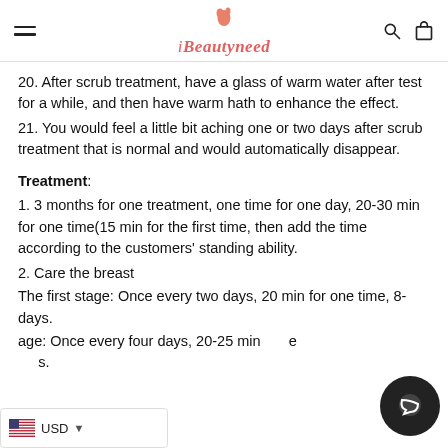iBeautyneed
20. After scrub treatment, have a glass of warm water after test for a while, and then have warm hath to enhance the effect.
21. You would feel a little bit aching one or two days after scrub treatment that is normal and would automatically disappear.
Treatment:
1. 3 months for one treatment, one time for one day, 20-30 min for one time(15 min for the first time, then add the time according to the customers' standing ability.
2. Care the breast
The first stage: Once every two days, 20 min for one time, 8-days.
age: Once every four days, 20-25 min e s.